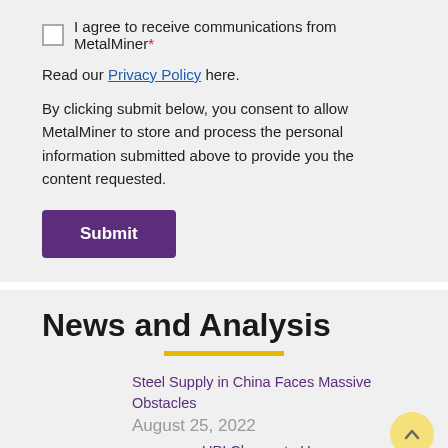I agree to receive communications from MetalMiner*
Read our Privacy Policy here.
By clicking submit below, you consent to allow MetalMiner to store and process the personal information submitted above to provide you the content requested.
Submit
News and Analysis
Steel Supply in China Faces Massive Obstacles August 25, 2022
UPI Closure to Have